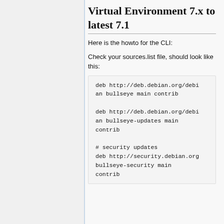Virtual Environment 7.x to latest 7.1
Here is the howto for the CLI:
Check your sources.list file, should look like this:
deb http://deb.debian.org/debian bullseye main contrib

deb http://deb.debian.org/debian bullseye-updates main contrib

# security updates
deb http://security.debian.org bullseye-security main contrib